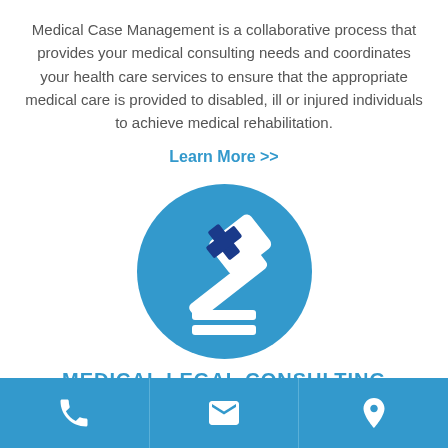Medical Case Management is a collaborative process that provides your medical consulting needs and coordinates your health care services to ensure that the appropriate medical care is provided to disabled, ill or injured individuals to achieve medical rehabilitation.
Learn More >>
[Figure (illustration): Blue circle icon with a gavel/mallet graphic featuring a medical cross symbol, representing medical legal consulting]
MEDICAL LEGAL CONSULTING
VR Medical Consulting's Legal Nurse Consultants are
Phone | Email | Location icons